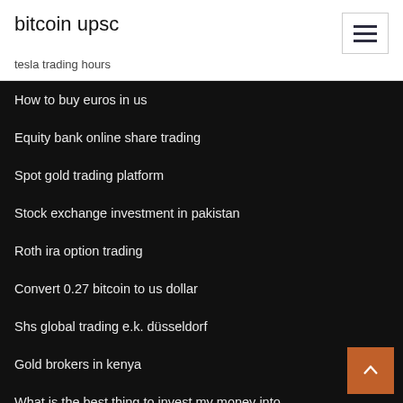bitcoin upsc
tesla trading hours
How to buy euros in us
Equity bank online share trading
Spot gold trading platform
Stock exchange investment in pakistan
Roth ira option trading
Convert 0.27 bitcoin to us dollar
Shs global trading e.k. düsseldorf
Gold brokers in kenya
What is the best thing to invest my money into
Best foreign value stocks